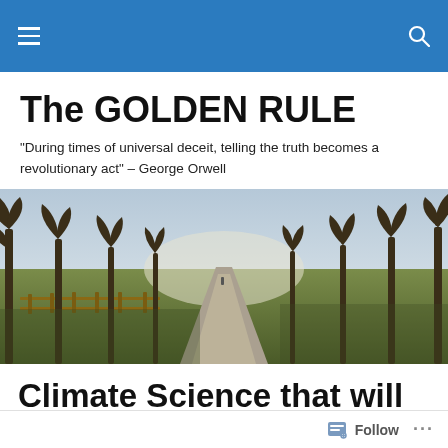The GOLDEN RULE — site navigation header
The GOLDEN RULE
“During times of universal deceit, telling the truth becomes a revolutionary act” – George Orwell
[Figure (photo): A tree-lined avenue with bare winter trees on both sides of a long straight path, fence on the left, green grass, misty daylight in distance]
Climate Science that will not Spin Genuine Scientists in their Graves
Follow